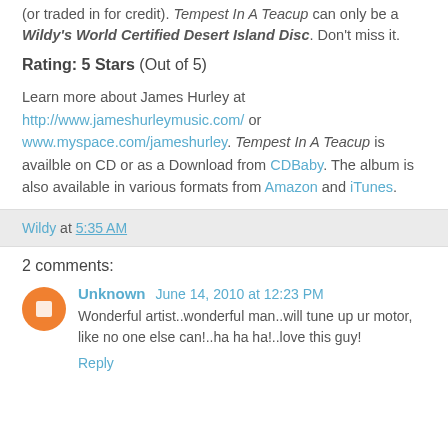(or traded in for credit). Tempest In A Teacup can only be a Wildy's World Certified Desert Island Disc. Don't miss it.
Rating: 5 Stars (Out of 5)
Learn more about James Hurley at http://www.jameshurleymusic.com/ or www.myspace.com/jameshurley. Tempest In A Teacup is availble on CD or as a Download from CDBaby. The album is also available in various formats from Amazon and iTunes.
Wildy at 5:35 AM
2 comments:
Unknown June 14, 2010 at 12:23 PM
Wonderful artist..wonderful man..will tune up ur motor, like no one else can!..ha ha ha!..love this guy!
Reply